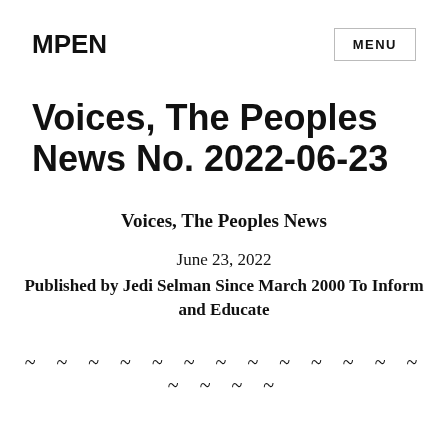MPEN
Voices, The Peoples News No. 2022-06-23
Voices, The Peoples News
June 23, 2022
Published by Jedi Selman Since March 2000 To Inform and Educate
~ ~ ~ ~ ~ ~ ~ ~ ~ ~ ~ ~ ~ ~ ~ ~ ~